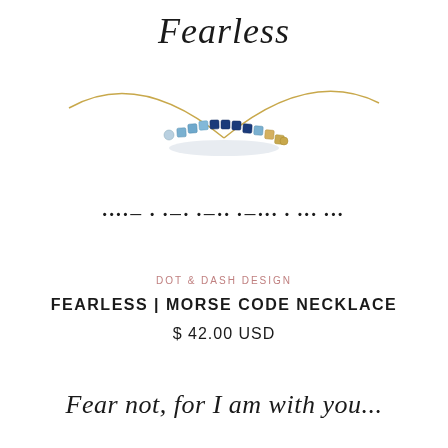Fearless
[Figure (photo): A gold-chain necklace with a curved bar of blue and navy seed beads in the center, photographed on a white background. Below the necklace is a line of morse code dots and dashes.]
DOT & DASH DESIGN
FEARLESS | MORSE CODE NECKLACE
$ 42.00 USD
Fear not, for I am with you...